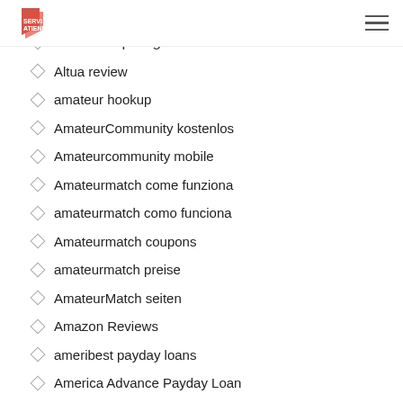Serviatiende logo and navigation
Altersvorsprung kostenlos
Altersvorsprung seiten
Altua review
amateur hookup
AmateurCommunity kostenlos
Amateurcommunity mobile
Amateurmatch come funziona
amateurmatch como funciona
Amateurmatch coupons
amateurmatch preise
AmateurMatch seiten
Amazon Reviews
ameribest payday loans
America Advance Payday Loan
America Mail Order Brides
American Payday Loan
american payday loans
Amerikanische Dating-Seiten kostenlos